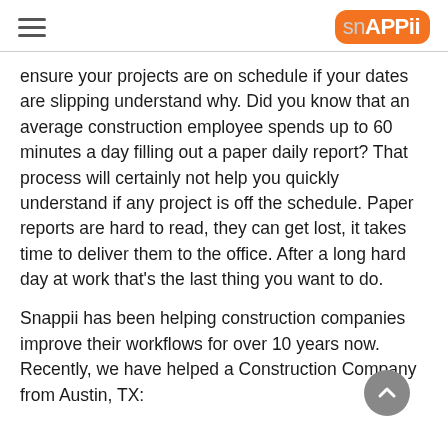snAPPii
ensure your projects are on schedule if your dates are slipping understand why. Did you know that an average construction employee spends up to 60 minutes a day filling out a paper daily report? That process will certainly not help you quickly understand if any project is off the schedule. Paper reports are hard to read, they can get lost, it takes time to deliver them to the office. After a long hard day at work that’s the last thing you want to do.
Snappii has been helping construction companies improve their workflows for over 10 years now. Recently, we have helped a Construction Company from Austin, TX: